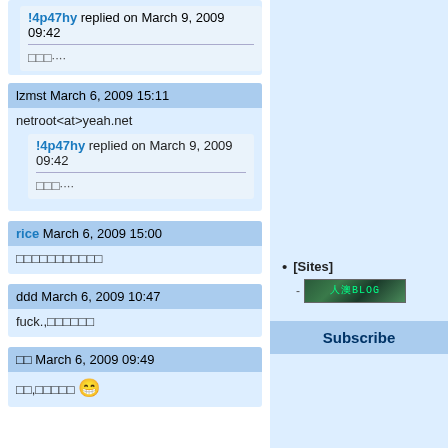!4p47hy replied on March 9, 2009 09:42
□□□·····
lzmst March 6, 2009 15:11
netroot<at>yeah.net
!4p47hy replied on March 9, 2009 09:42
□□□·····
rice March 6, 2009 15:00
□□□□□□□□□□□
ddd March 6, 2009 10:47
fuck.,□□□□□□
□□ March 6, 2009 09:49
□□,□□□□□ 😁
[Sites]
[Figure (screenshot): Small banner image with Chinese text and green background]
Subscribe